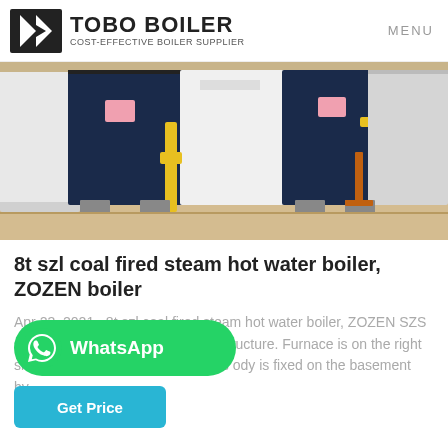TOBO BOILER — COST-EFFECTIVE BOILER SUPPLIER | MENU
[Figure (photo): Row of industrial steam/hot water boilers in a boiler room, dark blue and white units with yellow and orange piping, installed on a wooden floor.]
8t szl coal fired steam hot water boiler, ZOZEN boiler
Apr 23, 2021 · 8t szl coal fired steam hot water boiler, ZOZEN SZS series boiler is "D" type chamber structure. Furnace is on the right side and convection tube bundle is ody is fixed on the basement by...